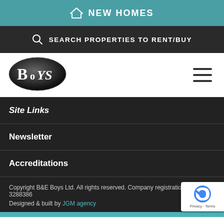NEW HOMES
SEARCH PROPERTIES TO RENT/BUY
[Figure (logo): Boys estate agents oval logo with 'Boys' text in white on dark grey/black oval background]
Site Links
Newsletter
Accreditations
Copyright B&E Boys Ltd. All rights reserved. Company registration number 3288386
Designed & built by JGM agency